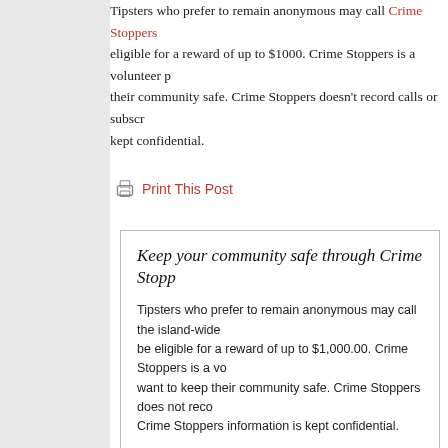Tipsters who prefer to remain anonymous may call Crime Stoppers eligible for a reward of up to $1000. Crime Stoppers is a volunteer p their community safe. Crime Stoppers doesn't record calls or subscr kept confidential.
Print This Post
Keep your community safe through Crime Stopp
Tipsters who prefer to remain anonymous may call the island-wide be eligible for a reward of up to $1,000.00. Crime Stoppers is a vo want to keep their community safe. Crime Stoppers does not reco Crime Stoppers information is kept confidential.
The Crime Stoppers TV Program is available on-demand from Nā
« Wanted: Pierre Malosi Apisaloma 12-01-11